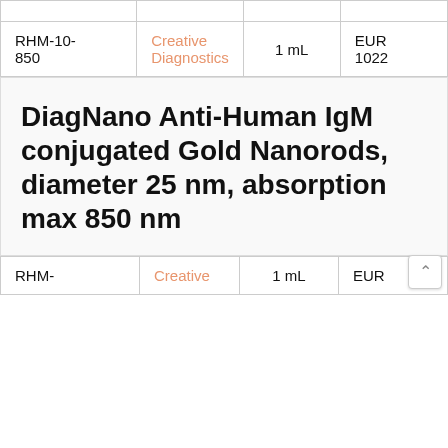| SKU | Supplier | Size | Price |
| --- | --- | --- | --- |
| RHM-10-850 | Creative Diagnostics | 1 mL | EUR 1022 |
DiagNano Anti-Human IgM conjugated Gold Nanorods, diameter 25 nm, absorption max 850 nm
| SKU | Supplier | Size | Price |
| --- | --- | --- | --- |
| RHM- | Creative | 1 mL | EUR |